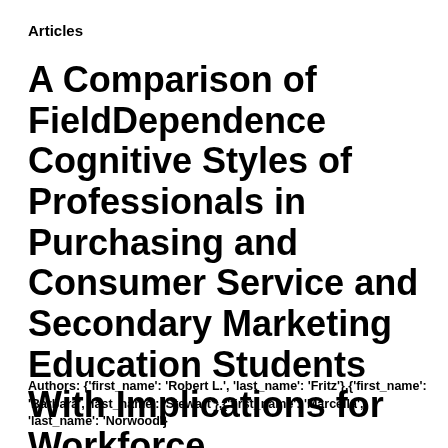Articles
A Comparison of FieldDependence Cognitive Styles of Professionals in Purchasing and Consumer Service and Secondary Marketing Education Students With Implications for Workforce Development
Authors: {'first_name': 'Robert L.', 'last_name': 'Fritz'},{'first_name': 'Barbara', 'last_name': 'Stewart'},{'first_name': 'Marcella', 'last_name': 'Norwood'}